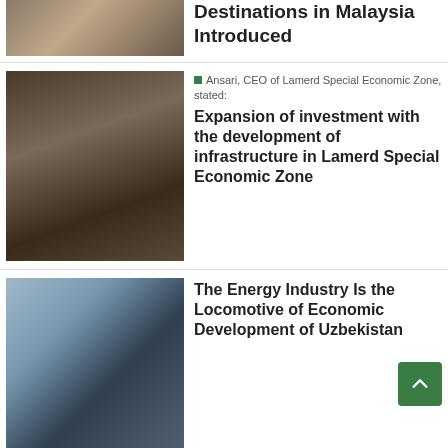[Figure (photo): Photo related to Malaysia tourism destinations article]
Destinations in Malaysia Introduced
[Figure (photo): Ansari, CEO of Lamerd Special Economic Zone, seated at desk]
Ansari, CEO of Lamerd Special Economic Zone, stated:
Expansion of investment with the development of infrastructure in Lamerd Special Economic Zone
[Figure (photo): Man gesturing near industrial structure, Uzbekistan energy story]
The Energy Industry Is the Locomotive of Economic Development of Uzbekistan
[Figure (photo): Zarif photo with Iranian flag, audio tape story]
Zarif's Leaked Audio Tape 'Stolen'